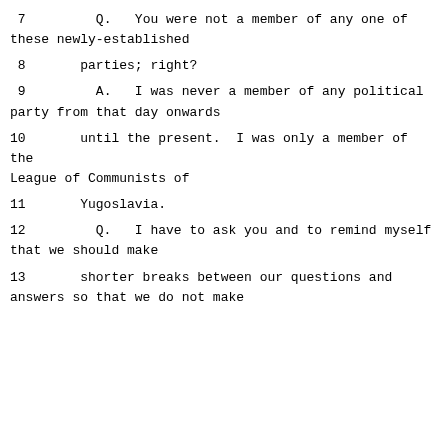7         Q.   You were not a member of any one of these newly-established
8       parties; right?
9         A.   I was never a member of any political party from that day onwards
10       until the present.  I was only a member of the League of Communists of
11       Yugoslavia.
12         Q.   I have to ask you and to remind myself that we should make
13       shorter breaks between our questions and answers so that we do not make